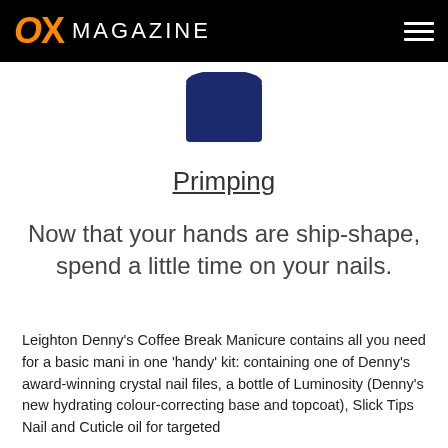OX MAGAZINE
[Figure (photo): Partial view of a dark navy blue nail product bottle cap/lid against a white background]
Primping
Now that your hands are ship-shape, spend a little time on your nails.
Leighton Denny's Coffee Break Manicure contains all you need for a basic mani in one 'handy' kit: containing one of Denny's award-winning crystal nail files, a bottle of Luminosity (Denny's new hydrating colour-correcting base and topcoat), Slick Tips Nail and Cuticle oil for targeted